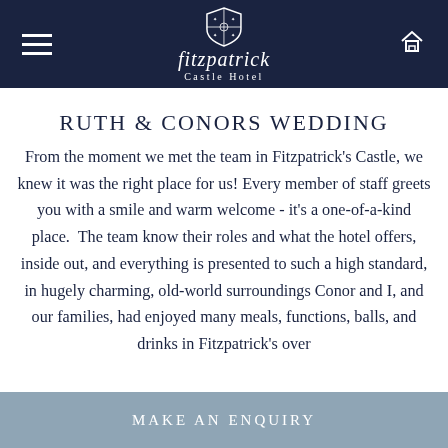Fitzpatrick Castle Hotel
RUTH & CONORS WEDDING
From the moment we met the team in Fitzpatrick's Castle, we knew it was the right place for us! Every member of staff greets you with a smile and warm welcome - it's a one-of-a-kind place.  The team know their roles and what the hotel offers, inside out, and everything is presented to such a high standard, in hugely charming, old-world surroundings Conor and I, and our families, had enjoyed many meals, functions, balls, and drinks in Fitzpatrick's over
MAKE AN ENQUIRY